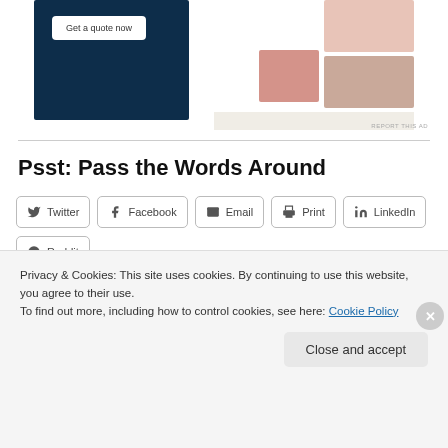[Figure (screenshot): Advertisement banner showing 'Get a quote now' button on dark blue background with lifestyle/fashion images on the right side]
REPORT THIS AD
Psst: Pass the Words Around
Twitter  Facebook  Email  Print  LinkedIn  Reddit
Like
Privacy & Cookies: This site uses cookies. By continuing to use this website, you agree to their use.
To find out more, including how to control cookies, see here: Cookie Policy
Close and accept